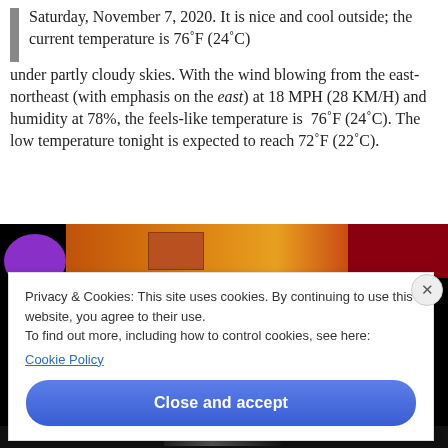Saturday, November 7, 2020. It is nice and cool outside; the current temperature is 76˚F (24˚C) under partly cloudy skies. With the wind blowing from the east-northeast (with emphasis on the east) at 18 MPH (28 KM/H) and humidity at 78%, the feels-like temperature is 76˚F (24˚C). The low temperature tonight is expected to reach 72˚F (22˚C).
[Figure (screenshot): A screenshot showing a website banner with a purple circle, orange/red gradient, and a cookie consent dialog overlay with 'Cookie Policy' link and a 'Close and accept' button.]